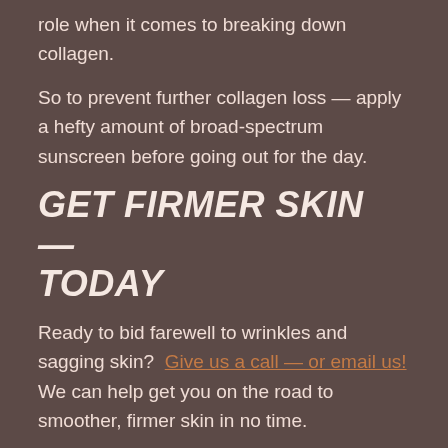role when it comes to breaking down collagen.
So to prevent further collagen loss — apply a hefty amount of broad-spectrum sunscreen before going out for the day.
GET FIRMER SKIN — TODAY
Ready to bid farewell to wrinkles and sagging skin?  Give us a call — or email us! We can help get you on the road to smoother, firmer skin in no time.
THIS ARTICLE MENTIONS